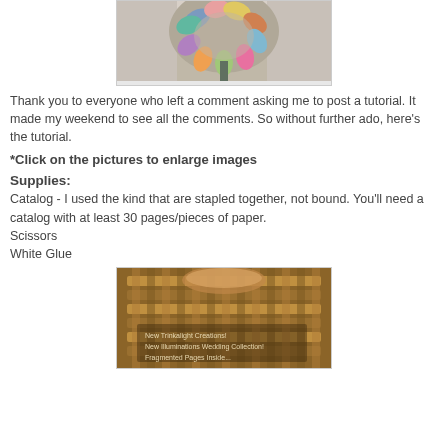[Figure (photo): Top portion of a colorful paper rosette or paper ball hanging decoration made from catalog pages, visible from below against a light background.]
Thank you to everyone who left a comment asking me to post a tutorial. It made my weekend to see all the comments. So without further ado, here's the tutorial.
*Click on the pictures to enlarge images
Supplies:
Catalog - I used the kind that are stapled together, not bound. You'll need a catalog with at least 30 pages/pieces of paper.
Scissors
White Glue
[Figure (photo): A catalog with a woven basket texture cover showing text: 'New Trinkalight Creations! New Illuminations Wedding Collection! Fragmented Pages Inside...']